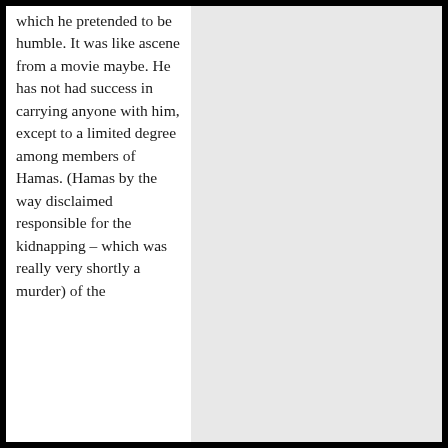which he pretended to be humble. It was like ascene from a movie maybe. He has not had success in carrying anyone with him, except to a limited degree among members of Hamas. (Hamas by the way disclaimed responsible for the kidnapping – which was really very shortly a murder) of the